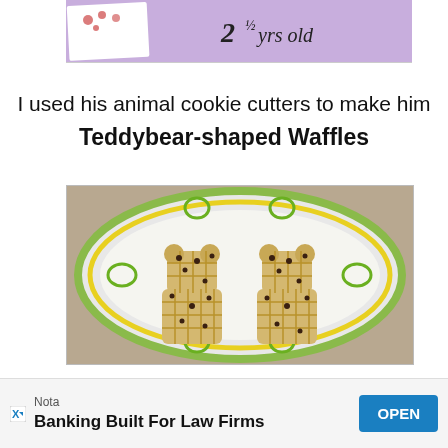[Figure (photo): Partial photo showing a purple decorative surface with handwritten text '2½ yrs old' and some small illustrated animals/flowers]
I used his animal cookie cutters to make him
Teddybear-shaped Waffles
[Figure (photo): Photo of a decorative plate with green and yellow floral border design, holding two teddy-bear-shaped waffles with chocolate chip spots]
Nota
Banking Built For Law Firms OPEN